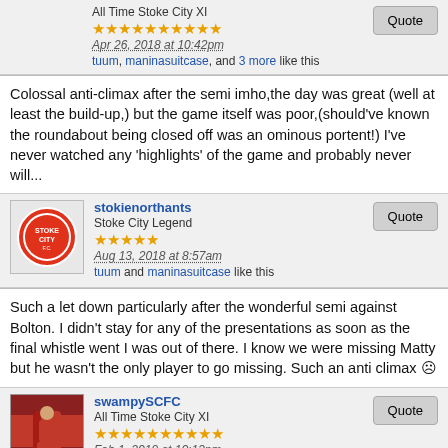All Time Stoke City XI
★★★★★★★★★★
Apr 26, 2018 at 10:42pm
tuum, maninasuitcase, and 3 more like this
Colossal anti-climax after the semi imho,the day was great (well at least the build-up,) but the game itself was poor,(should've known the roundabout being closed off was an ominous portent!) I've never watched any 'highlights' of the game and probably never will...
stokienorthants
Stoke City Legend
★★★★★
Aug 13, 2018 at 8:57am
tuum and maninasuitcase like this
Such a let down particularly after the wonderful semi against Bolton. I didn't stay for any of the presentations as soon as the final whistle went I was out of there. I know we were missing Matty but he wasn't the only player to go missing. Such an anti climax ☹
swampySCFC
All Time Stoke City XI
★★★★★★★★★★
Feb 1, 2019 at 10:13pm
senojbor likes this